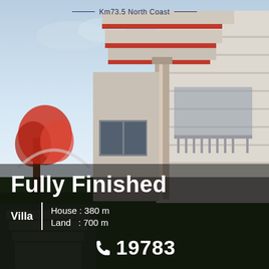Km73.5 North Coast
[Figure (photo): Exterior rendering of a modern multi-story villa with white facade, red-striped roofline, a tall decorative column, balconies, and landscaping with a red flowering tree, set against a dusk sky.]
Fully Finished
Villa | House : 380 m  Land  : 700 m
19783